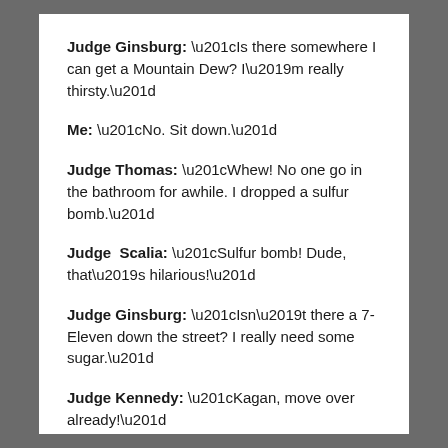Judge Ginsburg: “Is there somewhere I can get a Mountain Dew? I’m really thirsty.”
Me: “No. Sit down.”
Judge Thomas: “Whew! No one go in the bathroom for awhile. I dropped a sulfur bomb.”
Judge  Scalia: “Sulfur bomb! Dude, that’s hilarious!”
Judge Ginsburg: “Isn’t there a 7-Eleven down the street? I really need some sugar.”
Judge Kennedy: “Kagan, move over already!”
Judge Sotomayor: “Leave her alone. You’re so mean, Kennedy.”
Judge Roberts: “Scalia, don’t think you’re off the hook. I…”